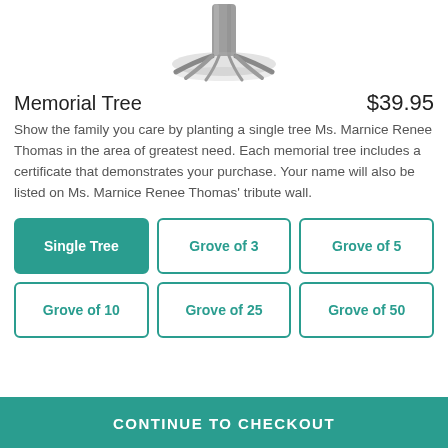[Figure (illustration): Bottom portion of a sketched/illustrated tree trunk and roots, shown in grayscale, centered at top of page]
Memorial Tree
$39.95
Show the family you care by planting a single tree Ms. Marnice Renee Thomas in the area of greatest need. Each memorial tree includes a certificate that demonstrates your purchase. Your name will also be listed on Ms. Marnice Renee Thomas' tribute wall.
Single Tree
Grove of 3
Grove of 5
Grove of 10
Grove of 25
Grove of 50
CONTINUE TO CHECKOUT